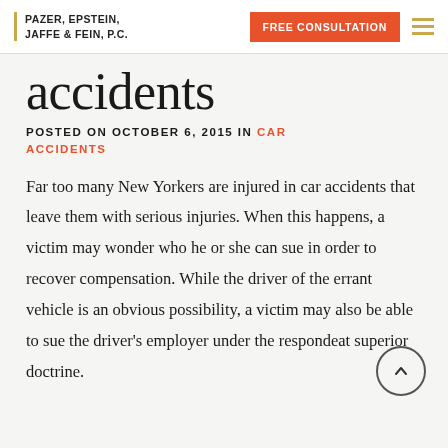PAZER, EPSTEIN, JAFFE & FEIN, P.C. | FREE CONSULTATION
accidents
POSTED ON OCTOBER 6, 2015 IN CAR ACCIDENTS
Far too many New Yorkers are injured in car accidents that leave them with serious injuries. When this happens, a victim may wonder who he or she can sue in order to recover compensation. While the driver of the errant vehicle is an obvious possibility, a victim may also be able to sue the driver's employer under the respondeat superior doctrine.